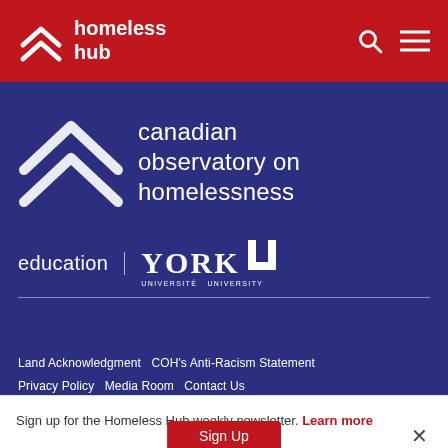homeless hub
[Figure (logo): Canadian Observatory on Homelessness logo with double chevron icon and text 'canadian observatory on homelessness' on dark blue background, with education | York Université University branding below]
Land Acknowledgment  COH's Anti-Racism Statement  Privacy Policy  Media Room  Contact Us
Sign up for the Homeless Hub weekly newsletter. Learn more
Sign Up